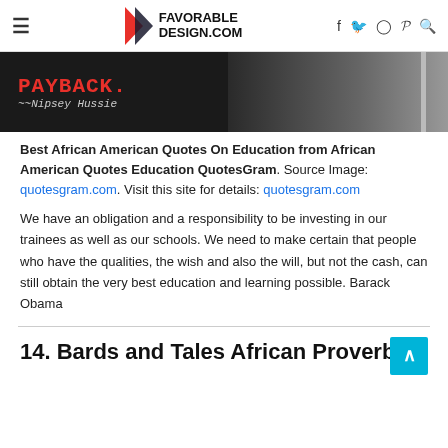FAVORABLE DESIGN.COM
[Figure (photo): Black and white image with red text reading PAYBACK. ~~Nipsey Hussie on dark background]
Best African American Quotes On Education from African American Quotes Education QuotesGram. Source Image: quotesgram.com. Visit this site for details: quotesgram.com
We have an obligation and a responsibility to be investing in our trainees as well as our schools. We need to make certain that people who have the qualities, the wish and also the will, but not the cash, can still obtain the very best education and learning possible. Barack Obama
14. Bards and Tales African Proverbs